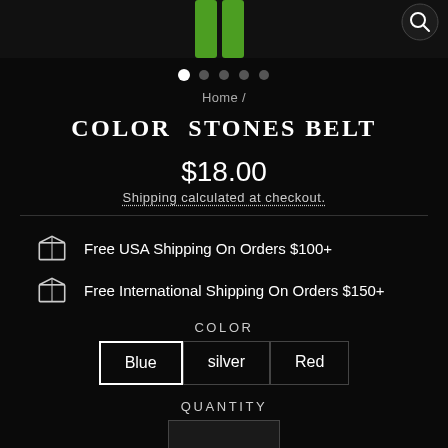[Figure (photo): Top portion of product image showing green legs/belt against dark background, with search icon in top right corner and navigation dots below]
Home /
COLOR STONES BELT
$18.00
Shipping calculated at checkout.
Free USA Shipping On Orders $100+
Free International Shipping On Orders $150+
COLOR
Blue   silver   Red
QUANTITY